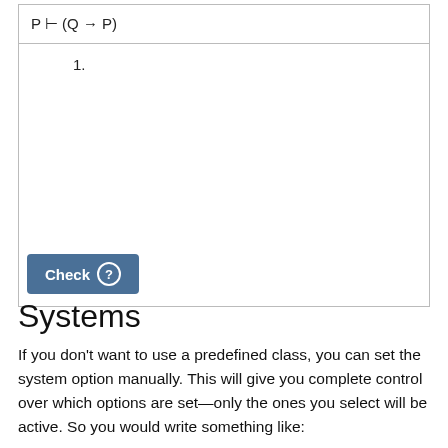1.
Systems
If you don't want to use a predefined class, you can set the system option manually. This will give you complete control over which options are set—only the ones you select will be active. So you would write something like: